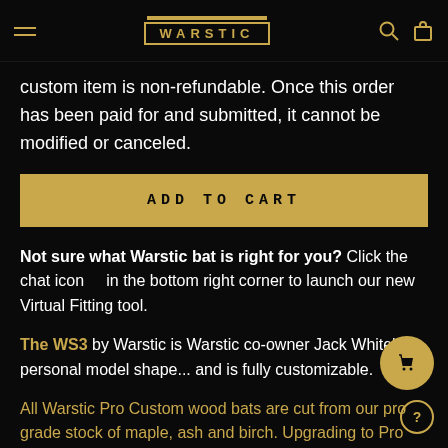WARSTIC navigation header with hamburger menu, logo, search and cart icons
custom item is non-refundable. Once this order has been paid for and submitted, it cannot be modified or canceled.
ADD TO CART
Not sure what Warstic bat is right for you? Click the chat icon in the bottom right corner to launch our new Virtual Fitting tool.
The WS3 by Warstic is Warstic co-owner Jack White's personal model shape... and is fully customizable.
All Warstic Pro Custom wood bats are cut from our pro grade stock of maple, ash and birch. Upgrading to Pro Prime